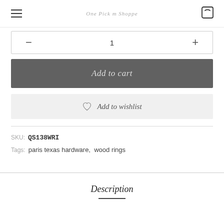One Pick m Shoppe
— 1 +
Add to cart
♡ Add to wishlist
SKU: QS138WRI
Tags: paris texas hardware, wood rings
Description